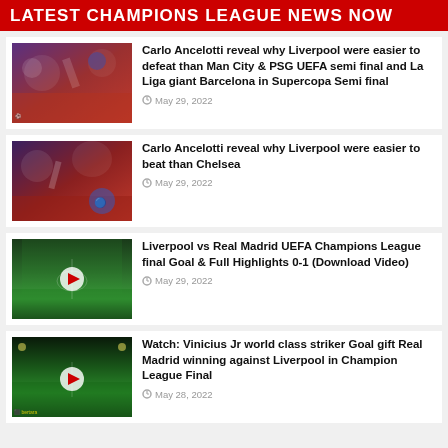LATEST CHAMPIONS LEAGUE NEWS NOW
Carlo Ancelotti reveal why Liverpool were easier to defeat than Man City & PSG UEFA semi final and La Liga giant Barcelona in Supercopa Semi final
May 29, 2022
Carlo Ancelotti reveal why Liverpool were easier to beat than Chelsea
May 29, 2022
Liverpool vs Real Madrid UEFA Champions League final Goal & Full Highlights 0-1 (Download Video)
May 29, 2022
Watch: Vinicius Jr world class striker Goal gift Real Madrid winning against Liverpool in Champion League Final
May 28, 2022